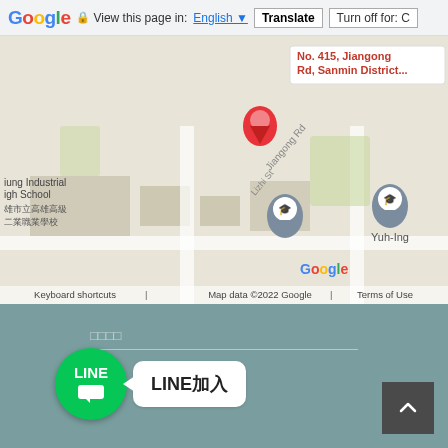[Figure (screenshot): Google Translate browser bar showing 'View this page in: English [dropdown] | Translate | Turn off for: C']
[Figure (map): Google Maps screenshot showing No. 415, Jiangong Rd, Sanmin District with a red pin marker, Kaohsiung Industrial High School label in Chinese and English, Yuh-Ing school marker, and Google branding. Map footer: 'Keyboard shortcuts | Map data ©2022 Google | Terms of Use']
□□□□
[Figure (logo): LINE green circle logo with LINE text and speech bubble icon, followed by white speech bubble text 'LINE加入']
[Figure (other): Dark grey back-to-top button with upward arrow chevron]